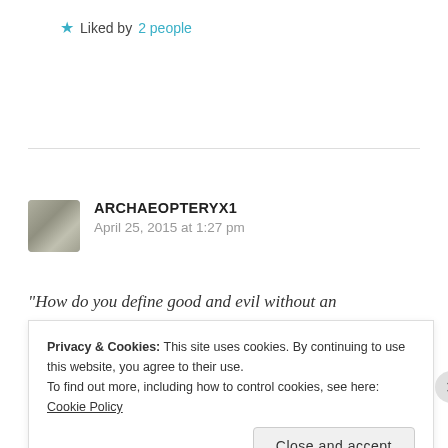★ Liked by 2 people
ARCHAEOPTERYX1
April 25, 2015 at 1:27 pm
“How do you define good and evil without an
Privacy & Cookies: This site uses cookies. By continuing to use this website, you agree to their use.
To find out more, including how to control cookies, see here: Cookie Policy
Close and accept